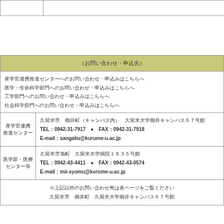| （お問い合わせ・申込先） |
| --- |
| 産学官連携推進センターへのお問い合わせ・申込みはこちらへ
医学・生命科学部門へのお問い合わせ・申込みはこちらへ
工学部門へのお問い合わせ・申込みはこちらへ
社会科学部門へのお問い合わせ・申込みはこちらへ |
| 産学官連携
推進センター | 久留米市　御井町（キャンパス内）　久留米大学御井キャンパス67号館
TEL：0942-31-7917　●　FAX：0942-31-7918
E-mail：sangaku@kurume-u.ac.jp |
| 医学部・医療
センター等 | 久留米市旭町　久留米大学病院1635号館
TEL：0942-43-4411　●　FAX：0942-43-0574
E-mail：mii-syomu@kurume-u.ac.jp |
| ※上記以外のお問い合わせ先は各ページをご覧ください。
久留米市　御井町　久留米大学御井キャンパス67号館 |